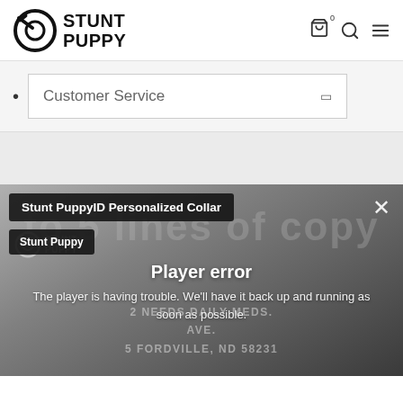Stunt Puppy — navigation bar with logo, cart (0), search, and menu icons
Customer Service
[Figure (screenshot): Stunt PuppyID Personalized Collar product page screenshot with a video player error overlay reading 'Player error — The player is having trouble. We'll have it back up and running as soon as possible.' Background shows a dog collar with address text: 2 NEEDS DAILY MEDS, AVE., FORDVILLE, ND 58231]
Player error
The player is having trouble. We'll have it back up and running as soon as possible.